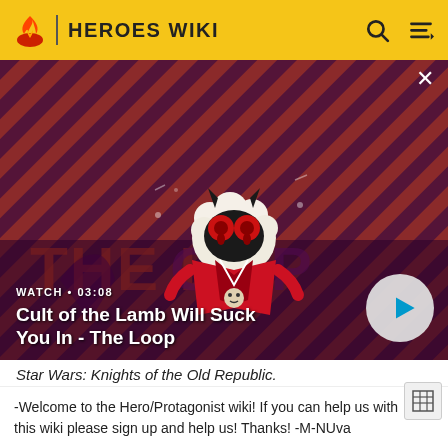HEROES WIKI
[Figure (screenshot): Cult of the Lamb character on a diagonal striped red/dark purple background with 'THE LOOP' text visible. A video thumbnail showing a lamb creature with devil horns and red eyes wearing a red robe.]
WATCH • 03:08
Cult of the Lamb Will Suck You In - The Loop
Star Wars: Knights of the Old Republic.
Hale reprised her voice for the character in X2
Wolverine's Revenge; Spider-Man 2: Enter Electr
-Welcome to the Hero/Protagonist wiki! If you can help us with this wiki please sign up and help us! Thanks! -M-NUva